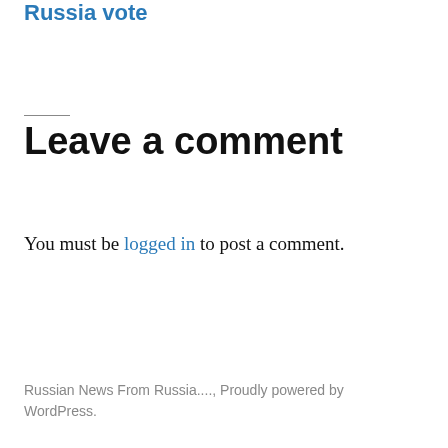Russia vote
Leave a comment
You must be logged in to post a comment.
Russian News From Russia...., Proudly powered by WordPress.